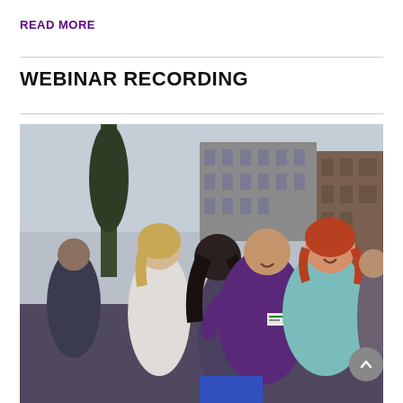READ MORE
WEBINAR RECORDING
[Figure (photo): Group of people at a social/networking event outdoors. A man in a purple velvet jacket wearing a name tag embraces a woman with dark hair from behind, both smiling. A man with red hair in a teal polo shirt stands to the right smiling. A blonde woman in a white top looks down to the left. People and a brick building visible in the background.]